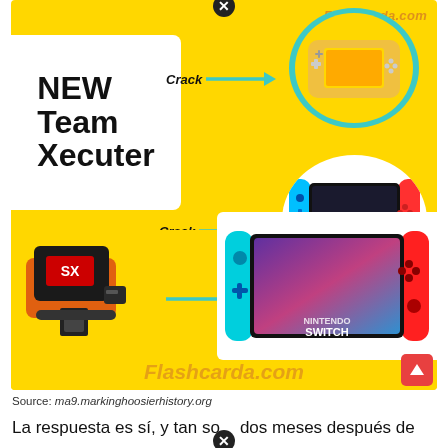[Figure (infographic): Infographic on yellow background showing NEW Team Xecuter cracking Nintendo Switch Lite and Unpatched Switch, and hacking Nintendo Switch using a USB-C device. Arrows labeled 'Crack' and 'Hack' connect the device/logo to the consoles. Watermark 'Flashcarda.com' appears multiple times. An 'Unpatched Switch' teal label is shown.]
Source: ma9.markinghoosierhistory.org
La respuesta es sí, y tan solo dos meses después de